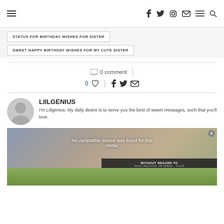Hamburger menu | Social icons (f, twitter, instagram, mail, menu, search)
STATUS FOR BIRTHDAY WISHES FOR SISTER
SWEET HAPPY BIRTHDAY WISHES FOR MY CUTE SISTER
0 comment
0 ♡ | f twitter mail
LIILGENIUS
I'm Liilgenius. My daily desire is to serve you the best of sweet messages, such that you'll love.
[Figure (photo): Advertisement banner showing airplane with overlay text 'No compatible source was found for this media.' and banner reading 'WITHOUT REGARD TO RACE, RELIGION, OR CREED... IN AIR']
[Figure (photo): Green field/grass bottom area]